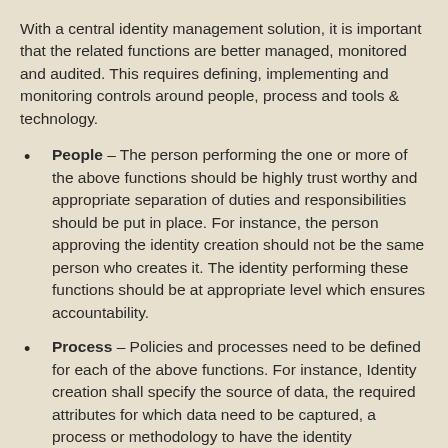With a central identity management solution, it is important that the related functions are better managed, monitored and audited. This requires defining, implementing and monitoring controls around people, process and tools & technology.
People – The person performing the one or more of the above functions should be highly trust worthy and appropriate separation of duties and responsibilities should be put in place. For instance, the person approving the identity creation should not be the same person who creates it. The identity performing these functions should be at appropriate level which ensures accountability.
Process – Policies and processes need to be defined for each of the above functions. For instance, Identity creation shall specify the source of data, the required attributes for which data need to be captured, a process or methodology to have the identity information verified and on top, an approval process. It is